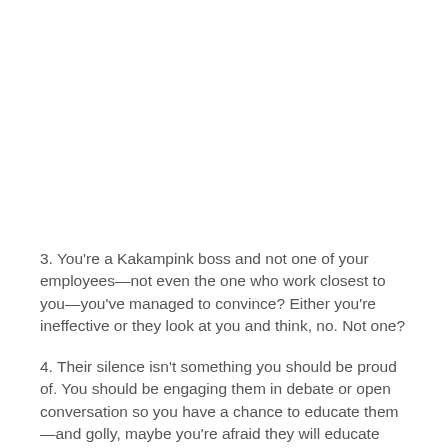3. You're a Kakampink boss and not one of your employees—not even the one who work closest to you—you've managed to convince? Either you're ineffective or they look at you and think, no. Not one?
4. Their silence isn't something you should be proud of. You should be engaging them in debate or open conversation so you have a chance to educate them—and golly, maybe you're afraid they will educate